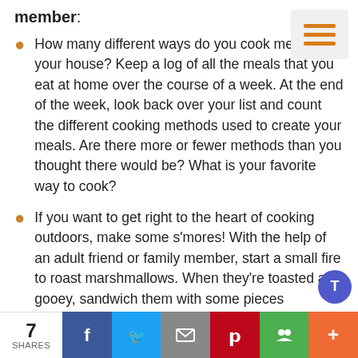member:
How many different ways do you cook meals at your house? Keep a log of all the meals that you eat at home over the course of a week. At the end of the week, look back over your list and count the different cooking methods used to create your meals. Are there more or fewer methods than you thought there would be? What is your favorite way to cook?
If you want to get right to the heart of cooking outdoors, make some s'mores! With the help of an adult friend or family member, start a small fire to roast marshmallows. When they're toasted and gooey, sandwich them with some pieces